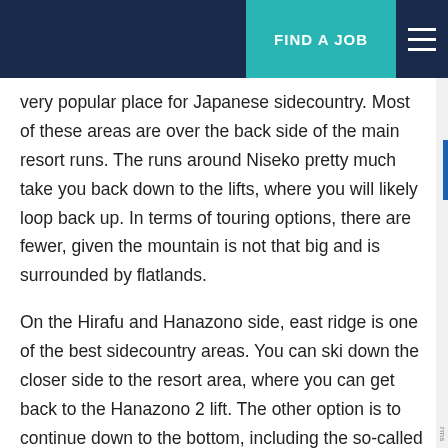FIND A JOB
very popular place for Japanese sidecountry. Most of these areas are over the back side of the main resort runs. The runs around Niseko pretty much take you back down to the lifts, where you will likely loop back up. In terms of touring options, there are fewer, given the mountain is not that big and is surrounded by flatlands.
On the Hirafu and Hanazono side, east ridge is one of the best sidecountry areas. You can ski down the closer side to the resort area, where you can get back to the Hanazono 2 lift. The other option is to continue down to the bottom, including the so-called 'Jackson Hole'